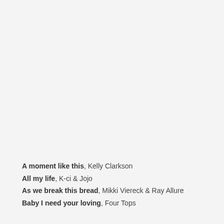A moment like this, Kelly Clarkson
All my life, K-ci & Jojo
As we break this bread, Mikki Viereck & Ray Allure
Baby I need your loving, Four Tops